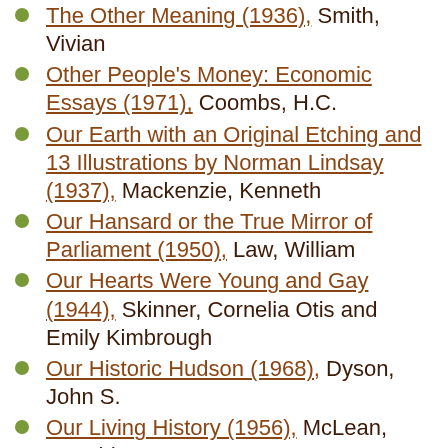The Other Meaning (1936), Smith, Vivian
Other People's Money: Economic Essays (1971), Coombs, H.C.
Our Earth with an Original Etching and 13 Illustrations by Norman Lindsay (1937), Mackenzie, Kenneth
Our Hansard or the True Mirror of Parliament (1950), Law, William
Our Hearts Were Young and Gay (1944), Skinner, Cornelia Otis and Emily Kimbrough
Our Historic Hudson (1968), Dyson, John S.
Our Living History (1956), McLean, Donald
Our Lords and Masters: Known and Unknown Rulers of the World (1936), The